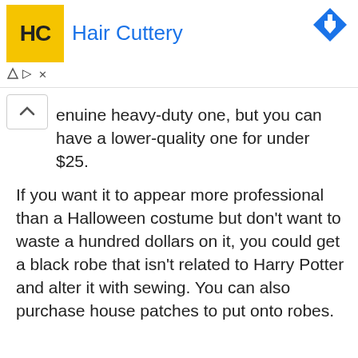[Figure (other): Hair Cuttery advertisement banner with yellow logo box showing 'HC', brand name 'Hair Cuttery' in blue, and a blue diamond arrow icon in top right]
enuine heavy-duty one, but you can have a lower-quality one for under $25.
If you want it to appear more professional than a Halloween costume but don't want to waste a hundred dollars on it, you could get a black robe that isn't related to Harry Potter and alter it with sewing. You can also purchase house patches to put onto robes.